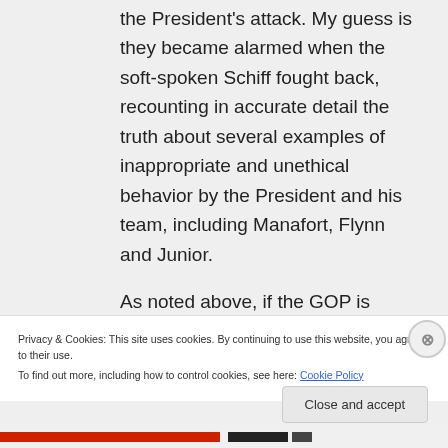the President's attack. My guess is they became alarmed when the soft-spoken Schiff fought back, recounting in accurate detail the truth about several examples of inappropriate and unethical behavior by the President and his team, including Manafort, Flynn and Junior.

As noted above, if the GOP is
Privacy & Cookies: This site uses cookies. By continuing to use this website, you agree to their use.
To find out more, including how to control cookies, see here: Cookie Policy
Close and accept